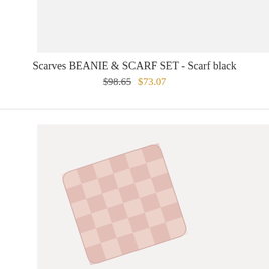[Figure (photo): Top portion of a product image with light gray background (partially cropped)]
Scarves BEANIE & SCARF SET - Scarf black
$98.65 $73.07
[Figure (photo): Product photo of a pink and white checkered/patterned scarf folded and displayed against a light pinkish-white background]